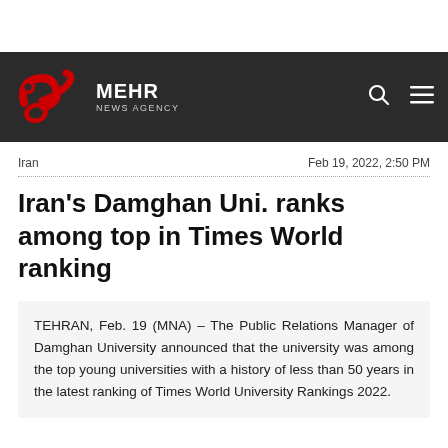MEHR NEWS AGENCY
Iran   Feb 19, 2022, 2:50 PM
Iran's Damghan Uni. ranks among top in Times World ranking
TEHRAN, Feb. 19 (MNA) – The Public Relations Manager of Damghan University announced that the university was among the top young universities with a history of less than 50 years in the latest ranking of Times World University Rankings 2022.